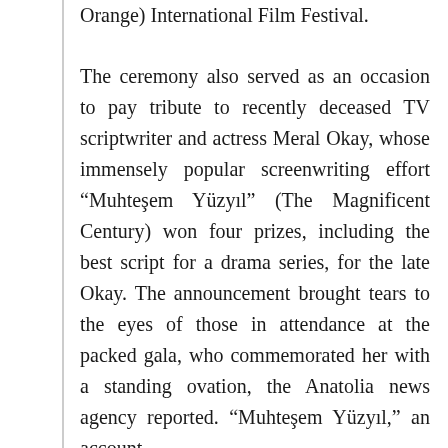Orange) International Film Festival.
The ceremony also served as an occasion to pay tribute to recently deceased TV scriptwriter and actress Meral Okay, whose immensely popular screenwriting effort “Muhteşem Yüzyıl” (The Magnificent Century) won four prizes, including the best script for a drama series, for the late Okay. The announcement brought tears to the eyes of those in attendance at the packed gala, who commemorated her with a standing ovation, the Anatolia news agency reported. “Muhteşem Yüzyıl,” an account